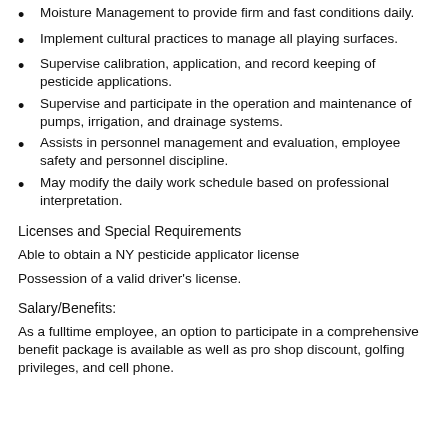Moisture Management to provide firm and fast conditions daily.
Implement cultural practices to manage all playing surfaces.
Supervise calibration, application, and record keeping of pesticide applications.
Supervise and participate in the operation and maintenance of pumps, irrigation, and drainage systems.
Assists in personnel management and evaluation, employee safety and personnel discipline.
May modify the daily work schedule based on professional interpretation.
Licenses and Special Requirements
Able to obtain a NY pesticide applicator license
Possession of a valid driver’s license.
Salary/Benefits:
As a fulltime employee, an option to participate in a comprehensive benefit package is available as well as pro shop discount, golfing privileges, and cell phone.